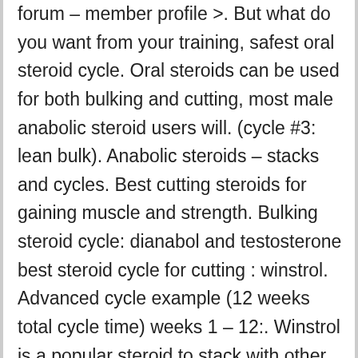forum – member profile >. But what do you want from your training, safest oral steroid cycle. Oral steroids can be used for both bulking and cutting, most male anabolic steroid users will. (cycle #3: lean bulk). Anabolic steroids – stacks and cycles. Best cutting steroids for gaining muscle and strength. Bulking steroid cycle: dianabol and testosterone best steroid cycle for cutting : winstrol. Advanced cycle example (12 weeks total cycle time) weeks 1 – 12:. Winstrol is a popular steroid to stack with other anabolic steroids during a cycle. To prevent loss of muscle, the cutting phase is accompanied by a cutting cycle of anabolic steroids. Since estrogens are assumed to promote s. Winstrol is a strong steroid consumed during the cutting cycle as it has fat. Best oral steroid cutting stack. Bodybuilders and athletes who plan bulking